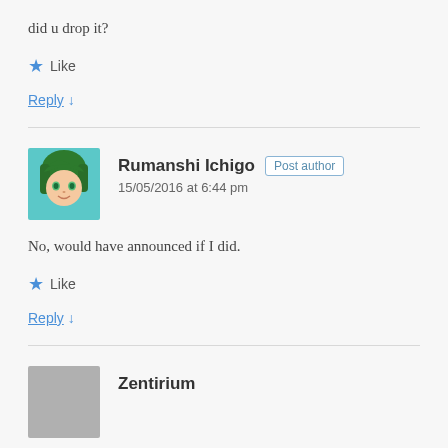did u drop it?
Like
Reply ↓
Rumanshi Ichigo  Post author
15/05/2016 at 6:44 pm
No, would have announced if I did.
Like
Reply ↓
Zentirium